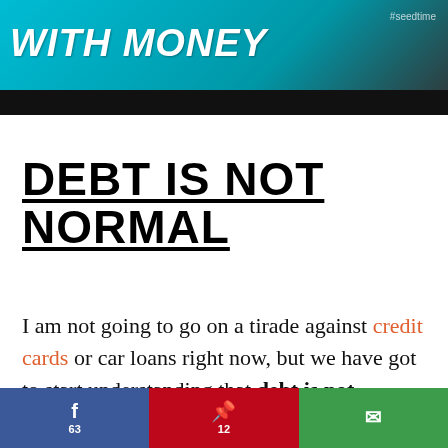[Figure (photo): Banner image with teal/cyan background and bold italic white text reading 'WITH MONEY', with a dark bar below and a small watermark in the top right corner]
DEBT IS NOT NORMAL
I am not going to go on a tirade against credit cards or car loans right now, but we have got to start understanding that debt is not normal. Just because most of society calls it normal and good does not make it
f 63   Pinterest 12   Email